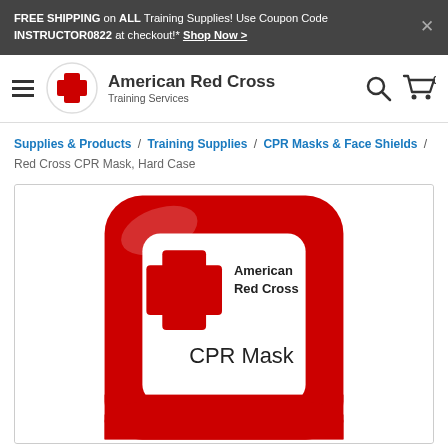FREE SHIPPING on ALL Training Supplies! Use Coupon Code INSTRUCTOR0822 at checkout!* Shop Now >
[Figure (logo): American Red Cross Training Services logo with red cross on white circle]
American Red Cross Training Services
Supplies & Products / Training Supplies / CPR Masks & Face Shields / Red Cross CPR Mask, Hard Case
[Figure (photo): Red hard case CPR mask with American Red Cross logo and text reading CPR Mask]